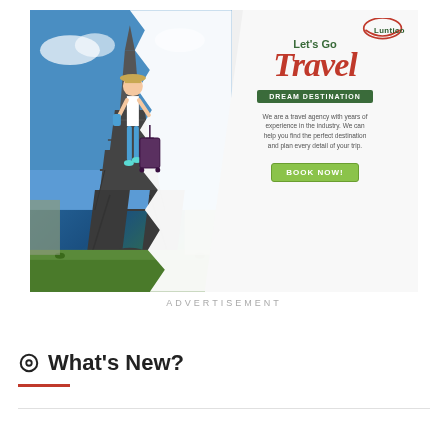[Figure (illustration): Travel agency advertisement showing the Eiffel Tower on the left half and a woman with luggage on the right half. Text reads 'Let's Go Travel - DREAM DESTINATION'. Includes Luntico logo, description text, and a BOOK NOW button.]
ADVERTISEMENT
What's New?